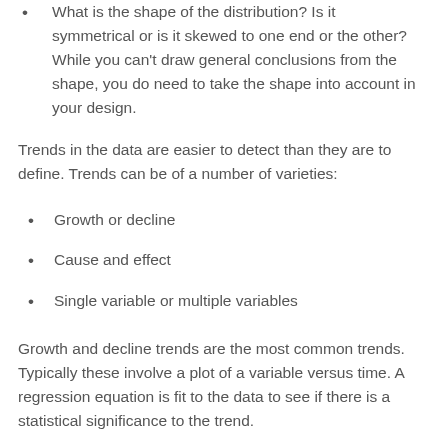What is the shape of the distribution? Is it symmetrical or is it skewed to one end or the other? While you can't draw general conclusions from the shape, you do need to take the shape into account in your design.
Trends in the data are easier to detect than they are to define. Trends can be of a number of varieties:
Growth or decline
Cause and effect
Single variable or multiple variables
Growth and decline trends are the most common trends. Typically these involve a plot of a variable versus time. A regression equation is fit to the data to see if there is a statistical significance to the trend.